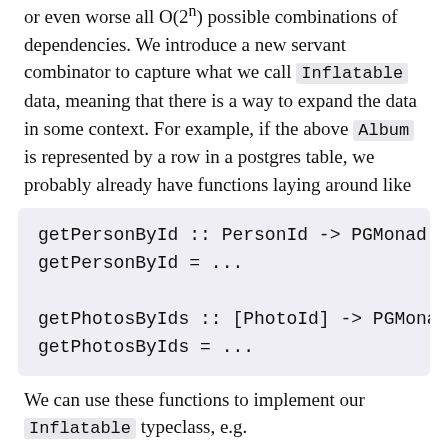or even worse all O(2^n) possible combinations of dependencies. We introduce a new servant combinator to capture what we call Inflatable data, meaning that there is a way to expand the data in some context. For example, if the above Album is represented by a row in a postgres table, we probably already have functions laying around like
[Figure (screenshot): Code block showing Haskell function signatures: getPersonById :: PersonId -> PGMonad Person; getPersonById = ...; getPhotosByIds :: [PhotoId] -> PGMonad [Pho...]; getPhotosByIds = ...]
We can use these functions to implement our Inflatable typeclass, e.g.
[Figure (screenshot): Code block showing Haskell instance declaration: instance Inflatable PGMonad PersonId where; type Full PGMonad PersonId = Person]